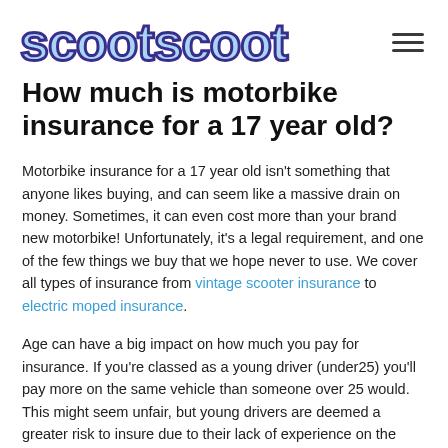scootscoot
How much is motorbike insurance for a 17 year old?
Motorbike insurance for a 17 year old isn't something that anyone likes buying, and can seem like a massive drain on money. Sometimes, it can even cost more than your brand new motorbike! Unfortunately, it's a legal requirement, and one of the few things we buy that we hope never to use. We cover all types of insurance from vintage scooter insurance to electric moped insurance.
Age can have a big impact on how much you pay for insurance. If you're classed as a young driver (under25) you'll pay more on the same vehicle than someone over 25 would. This might seem unfair, but young drivers are deemed a greater risk to insure due to their lack of experience on the road. After a few years, you'll notice your premium decreasing, providing you don't make any